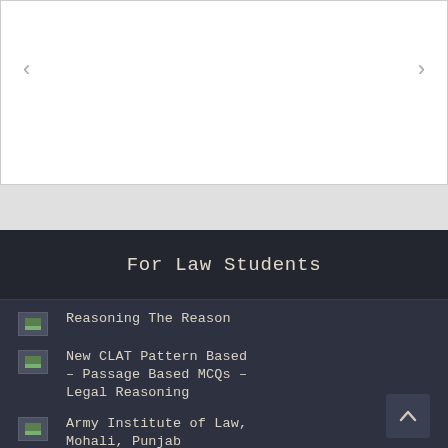[Figure (screenshot): White carousel/slider area with left and right navigation arrows]
For Law Students
Reasoning The Reason
New CLAT Pattern Based – Passage Based MCQs – Legal Reasoning
Army Institute of Law, Mohali, Punjab